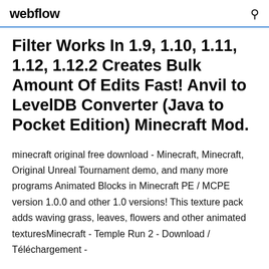webflow
Filter Works In 1.9, 1.10, 1.11, 1.12, 1.12.2 Creates Bulk Amount Of Edits Fast! Anvil to LevelDB Converter (Java to Pocket Edition) Minecraft Mod.
minecraft original free download - Minecraft, Minecraft, Original Unreal Tournament demo, and many more programs Animated Blocks in Minecraft PE / MCPE version 1.0.0 and other 1.0 versions! This texture pack adds waving grass, leaves, flowers and other animated texturesMinecraft - Temple Run 2 - Download / Téléchargement -